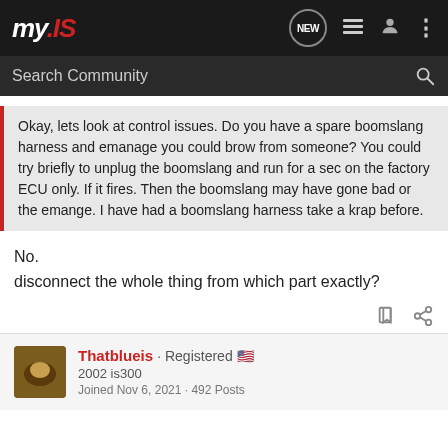my.IS — navigation bar with logo and icons
Search Community
Okay, lets look at control issues. Do you have a spare boomslang harness and emanage you could brow from someone? You could try briefly to unplug the boomslang and run for a sec on the factory ECU only. If it fires. Then the boomslang may have gone bad or the emange. I have had a boomslang harness take a krap before.
No.
disconnect the whole thing from which part exactly?
Thatblueis · Registered
2002 is300
Joined Nov 6, 2021 · 492 Posts